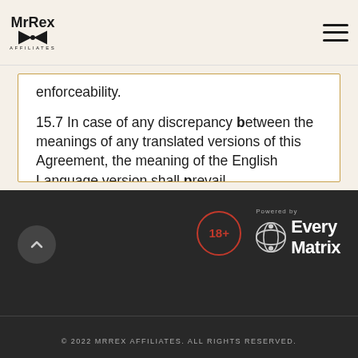MrRex Affiliates
enforceability.
15.7 In case of any discrepancy between the meanings of any translated versions of this Agreement, the meaning of the English Language version shall prevail.
16. Changes To This Agreement
This Agreement has not been varied or otherwise amended since  25 May 2018.
© 2022 MRREX AFFILIATES. ALL RIGHTS RESERVED.